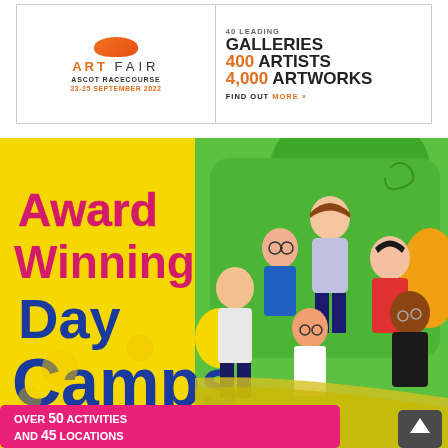[Figure (illustration): Art Fair advertisement banner for Ascot Racecourse, 23-25 September 2022. Left side shows 'ART FAIR' logo with orange circle, venue and date. Right side shows '40 LEADING GALLERIES, 400 ARTISTS, 4,000 ARTWORKS, FIND OUT MORE >>' in bold text.]
[Figure (photo): Award Winning Day Camps advertisement. Yellow background left side with colorful text: 'Award Winning' in pink/red, 'Day Camps' in blue. Bottom pink banner reads 'OVER 50 ACTIVITIES AND 45 LOCATIONS'. Right side shows photo of children playing on a bouncy castle with green inflatable background.]